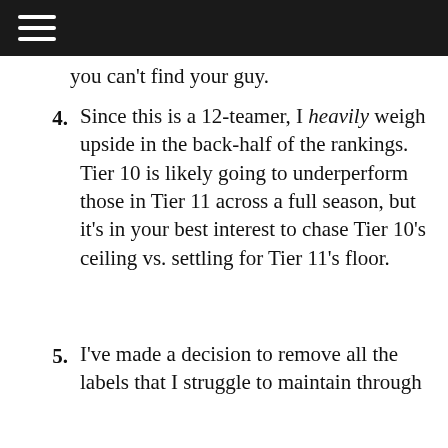you can't find your guy.
4. Since this is a 12-teamer, I heavily weigh upside in the back-half of the rankings. Tier 10 is likely going to underperform those in Tier 11 across a full season, but it's in your best interest to chase Tier 10's ceiling vs. settling for Tier 11's floor.
5. I've made a decision to remove all the labels that I struggle to maintain through
We use cookies on our website to give you the most relevant experience by remembering your preferences and repeat visits.